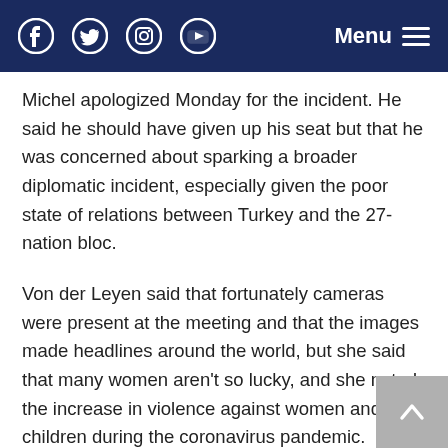Social media icons (Facebook, Twitter, Instagram, YouTube) and Menu button
Michel apologized Monday for the incident. He said he should have given up his seat but that he was concerned about sparking a broader diplomatic incident, especially given the poor state of relations between Turkey and the 27-nation bloc.
Von der Leyen said that fortunately cameras were present at the meeting and that the images made headlines around the world, but she said that many women aren't so lucky, and she noted the increase in violence against women and children during the coronavirus pandemic.